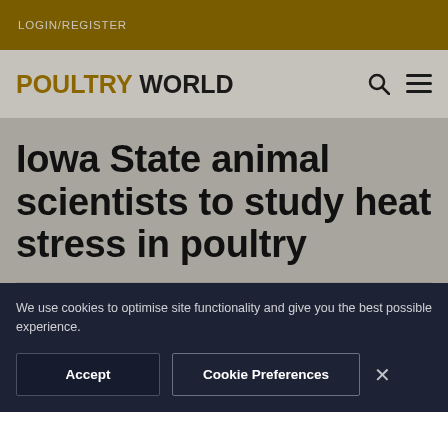LOGIN/REGISTER
POULTRY WORLD
Iowa State animal scientists to study heat stress in poultry
We use cookies to optimise site functionality and give you the best possible experience.
Accept   Cookie Preferences   ×